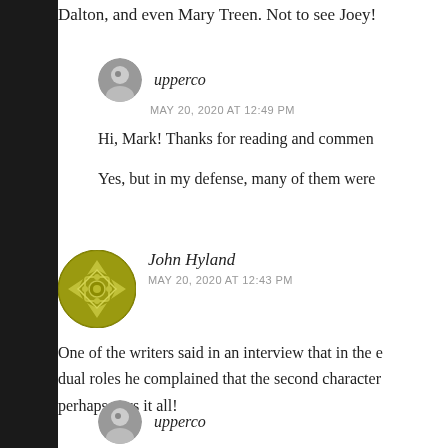Dalton, and even Mary Treen. Not to see Joey!
upperco
MAY 20, 2020 AT 12:49 PM
Hi, Mark! Thanks for reading and commen
Yes, but in my defense, many of them were
John Hyland
MAY 20, 2020 AT 12:43 PM
One of the writers said in an interview that in the e dual roles he complained that the second character perhaps says it all!
upperco